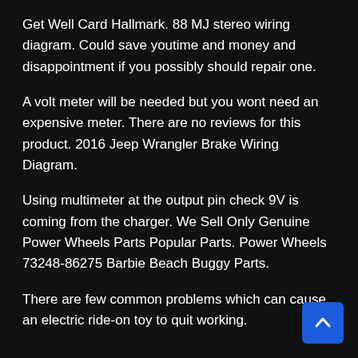Get Well Card Hallmark. 88 MJ stereo wiring diagram. Could save youtime and money and disappointment if you possibly should repair one.
A volt meter will be needed but you wont need an expensive meter. There are no reviews for this product. 2016 Jeep Wrangler Brake Wiring Diagram.
Using multimeter at the output pin check 9V is coming from the charger. We Sell Only Genuine Power Wheels Parts Popular Parts. Power Wheels 73248-86275 Barbie Beach Buggy Parts.
There are few common problems which can cause an electric ride-on toy to quit working.